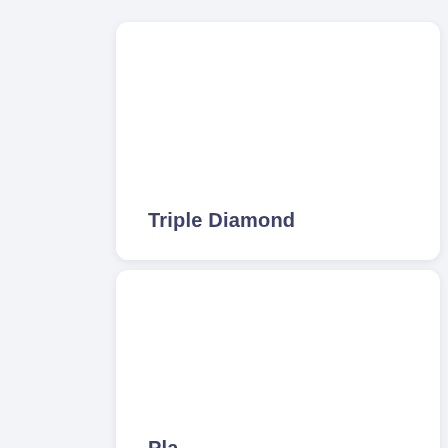[Figure (other): White rounded card with text 'Triple Diamond' at the bottom left]
Triple Diamond
[Figure (other): White rounded card partially visible, with truncated text at the bottom]
Pla…